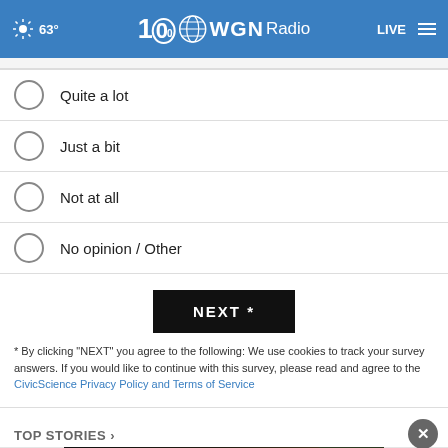63° WGN Radio 100 LIVE
Quite a lot
Just a bit
Not at all
No opinion / Other
NEXT *
* By clicking "NEXT" you agree to the following: We use cookies to track your survey answers. If you would like to continue with this survey, please read and agree to the CivicScience Privacy Policy and Terms of Service
TOP STORIES ›
[Figure (photo): Advertisement banner with text 'Don't wait.' over dark background with a person sitting]